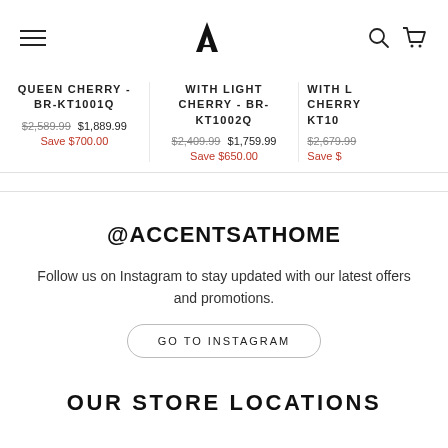Navigation header with hamburger menu, logo, search and cart icons
QUEEN CHERRY - BR-KT1001Q
$2,589.99 $1,889.99
Save $700.00
WITH LIGHT CHERRY - BR-KT1002Q
$2,409.99 $1,759.99
Save $650.00
WITH LIGHT CHERRY - BR-KT10...
$2,679.99
Save $...
@ACCENTSATHOME
Follow us on Instagram to stay updated with our latest offers and promotions.
GO TO INSTAGRAM
OUR STORE LOCATIONS